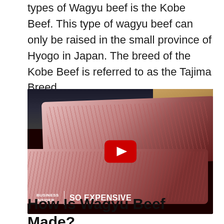types of Wagyu beef is the Kobe Beef. This type of wagyu beef can only be raised in the small province of Hyogo in Japan. The breed of the Kobe Beef is referred to as the Tajima Breed.
[Figure (photo): Video thumbnail showing highly marbled Wagyu/Kobe beef slabs on a dark grill surface, with a YouTube play button overlay and 'Business Insider | SO EXPENSIVE' text in the lower left corner.]
How Is Wagyu Beef Made?